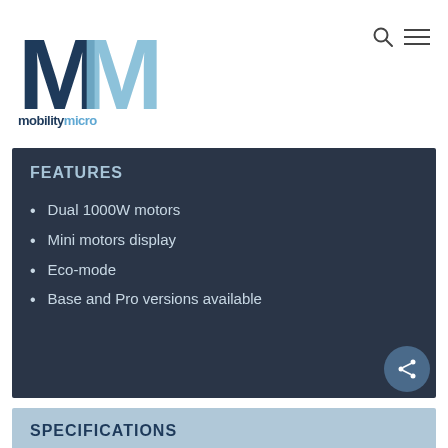[Figure (logo): MobilityMicro logo with two overlapping M letters in dark blue and light blue, with 'mobilitymicro' text below in bold]
FEATURES
Dual 1000W motors
Mini motors display
Eco-mode
Base and Pro versions available
SPECIFICATIONS